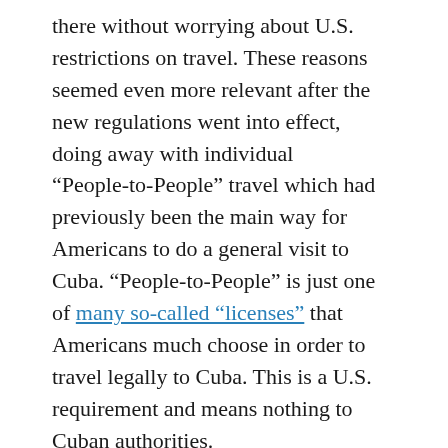there without worrying about U.S. restrictions on travel. These reasons seemed even more relevant after the new regulations went into effect, doing away with individual “People-to-People” travel which had previously been the main way for Americans to do a general visit to Cuba. “People-to-People” is just one of many so-called “licenses” that Americans much choose in order to travel legally to Cuba. This is a U.S. requirement and means nothing to Cuban authorities.
Group “People-to-People” is still allowed and that is the category under which most cruise-line-sponsored shore excursions fall. Given the ridiculously high prices and large-